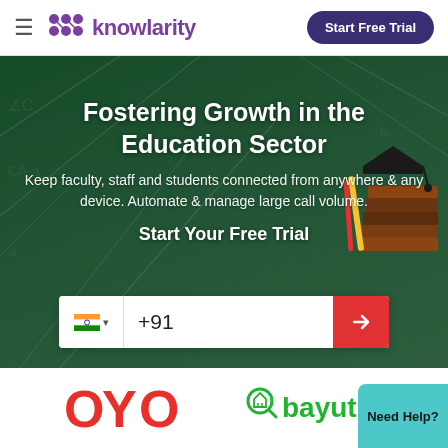knowlarity — Start Free Trial
Fostering Growth in the Education Sector
Keep faculty, staff and students connected from anywhere & any device. Automate & manage large call volume.
Start Your Free Trial
[Figure (screenshot): Phone number input bar with Indian flag, +91, and red arrow submit button]
[Figure (logo): OYO logo in red]
[Figure (logo): bayut logo in green with magnifier house icon]
Need Help?